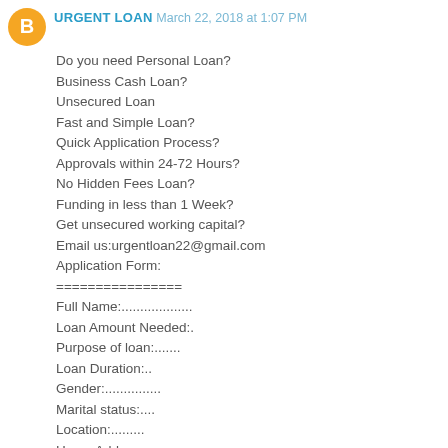URGENT LOAN March 22, 2018 at 1:07 PM
Do you need Personal Loan?
Business Cash Loan?
Unsecured Loan
Fast and Simple Loan?
Quick Application Process?
Approvals within 24-72 Hours?
No Hidden Fees Loan?
Funding in less than 1 Week?
Get unsecured working capital?
Email us:urgentloan22@gmail.com
Application Form:
================
Full Name:.................
Loan Amount Needed:.
Purpose of loan:.......
Loan Duration:..
Gender:...............
Marital status:....
Location:..........
Home Address:..
City:..............